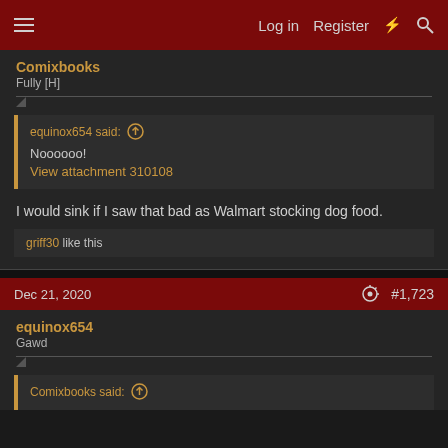Log in  Register  [lightning icon]  [search icon]
Comixbooks
Fully [H]
equinox654 said: ↑
Noooooo!
View attachment 310108
I would sink if I saw that bad as Walmart stocking dog food.
griff30 like this
Dec 21, 2020  #1,723
equinox654
Gawd
Comixbooks said: ↑